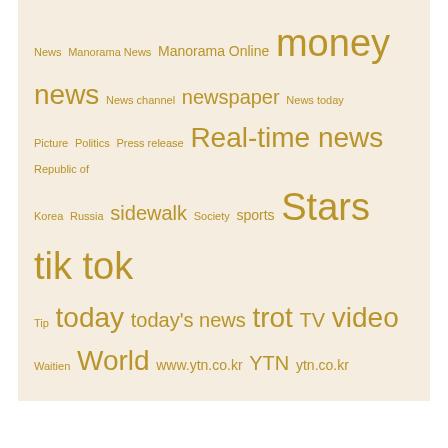[Figure (infographic): Tag cloud with golden/brown colored words of varying sizes on a cream/beige background. Words include: News, Manorama News, Manorama Online, money, news, News channel, newspaper, News today, Picture, Politics, Press release, Real-time news, Republic of Korea, Russia, sidewalk, Society, sports, Stars, tik tok, Tip, today, today's news, trot, TV, video, Waitien, World, www.ytn.co.kr, YTN, ytn.co.kr]
Related News